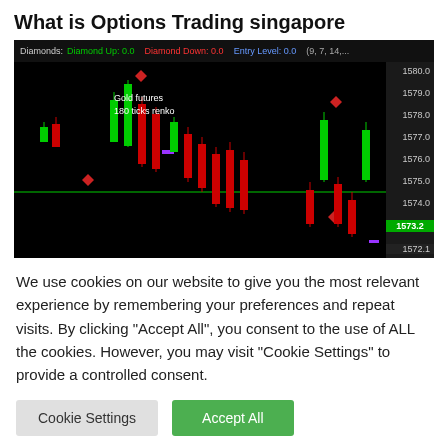What is Options Trading singapore
[Figure (screenshot): A renko candlestick chart of Gold futures, 180 ticks renko, showing green and red candles with diamond indicators on a black background. Indicator bar at top shows: Diamonds: Diamond Up 0.0, Diamond Down 0.0, Entry Level 0.0, (9,7,14,...). Price axis on right shows values from 1572.1 to 1580.0, with current price highlighted at 1573.2. A horizontal green line crosses the chart. Red diamond markers appear at peak and recent bars.]
We use cookies on our website to give you the most relevant experience by remembering your preferences and repeat visits. By clicking "Accept All", you consent to the use of ALL the cookies. However, you may visit "Cookie Settings" to provide a controlled consent.
Cookie Settings
Accept All